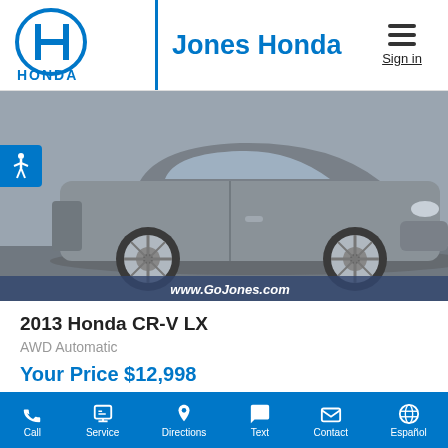[Figure (logo): Honda logo with H icon and HONDA text in blue, beside vertical blue line]
Jones Honda
Sign in
[Figure (photo): 2013 Honda CR-V LX silver/gray SUV side view with www.GoJones.com watermark]
2013 Honda CR-V LX
AWD Automatic
Your Price $12,998
Gray Exterior
Mileage: 165,875 Miles
Call  Service  Directions  Text  Contact  Español